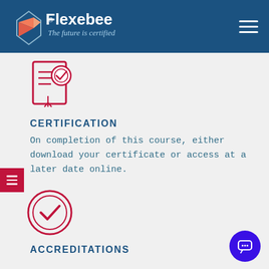Flexebee — The future is certified
[Figure (illustration): Red certificate/document icon with a checkmark seal]
CERTIFICATION
On completion of this course, either download your certificate or access at a later date online.
[Figure (illustration): Red circular checkmark/accreditation badge icon]
ACCREDITATIONS